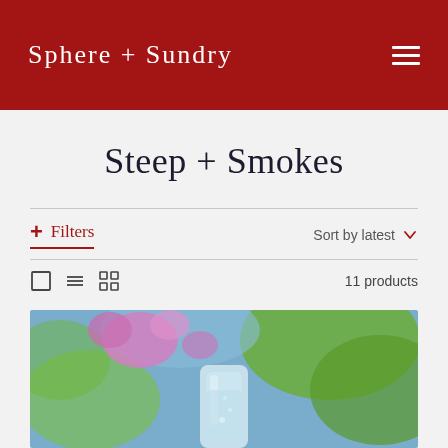Sphere + Sundry
Steep + Smokes
+ Filters   Sort by latest   11 products
[Figure (photo): A blurred outdoor photo showing pink flowers and a glass with a beverage, with green foliage in the background.]